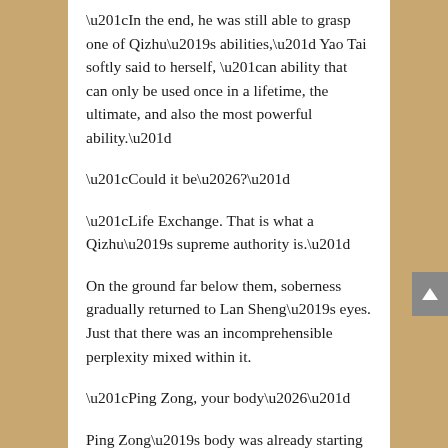“In the end, he was still able to grasp one of Qizhu’s abilities,” Yao Tai softly said to herself, “an ability that can only be used once in a lifetime, the ultimate, and also the most powerful ability.”
“Could it be…?”
“Life Exchange. That is what a Qizhu’s supreme authority is.”
On the ground far below them, soberness gradually returned to Lan Sheng’s eyes. Just that there was an incomprehensible perplexity mixed within it.
“Ping Zong, your body…”
Ping Zong’s body was already starting to turn